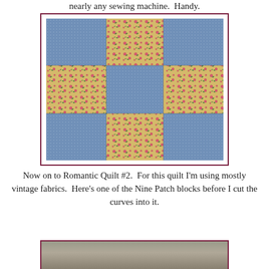nearly any sewing machine.  Handy.
[Figure (photo): A Nine Patch quilt block showing alternating blue dotted fabric and yellow floral fabric with pink roses and green leaves, arranged in a cross/plus pattern against blue corners. The quilt block is displayed inside a dark red/maroon border frame.]
Now on to Romantic Quilt #2.  For this quilt I'm using mostly vintage fabrics.  Here's one of the Nine Patch blocks before I cut the curves into it.
[Figure (photo): Bottom portion of a photograph showing fabric, partially visible, in a dark red/maroon border frame.]